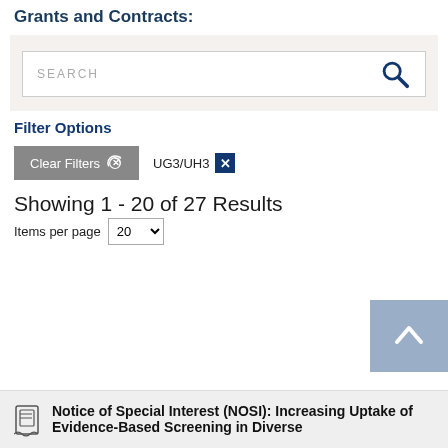Grants and Contracts:
[Figure (screenshot): Search bar UI with placeholder text SEARCH and a dark blue magnifying glass icon button on the right]
Filter Options
Clear Filters  UG3/UH3 x
Showing 1 - 20 of 27 Results
Items per page  20
Notice of Special Interest (NOSI): Increasing Uptake of Evidence-Based Screening in Diverse